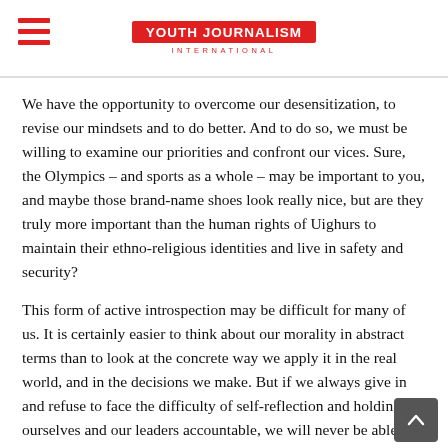YOUTH JOURNALISM INTERNATIONAL
We have the opportunity to overcome our desensitization, to revise our mindsets and to do better. And to do so, we must be willing to examine our priorities and confront our vices. Sure, the Olympics – and sports as a whole – may be important to you, and maybe those brand-name shoes look really nice, but are they truly more important than the human rights of Uighurs to maintain their ethno-religious identities and live in safety and security?
This form of active introspection may be difficult for many of us. It is certainly easier to think about our morality in abstract terms than to look at the concrete way we apply it in the real world, and in the decisions we make. But if we always give in and refuse to face the difficulty of self-reflection and holding ourselves and our leaders accountable, we will never be able to improve, advance, or make the world a better place.